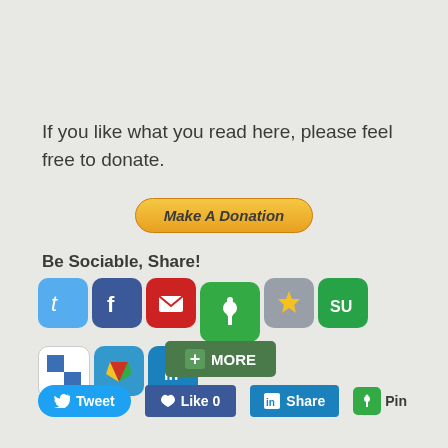If you like what you read here, please feel free to donate.
[Figure (other): Make A Donation button with orange gradient and italic bold text]
Be Sociable, Share!
[Figure (other): Row of social media share icons: Twitter, Facebook, Email, Pinboard, Stumbleupon star, StumbleUpon, Delicious, Google+, LinkedIn; plus a MORE button]
[Figure (other): Social sharing action buttons row: Tweet, Like 0, Share (LinkedIn), Pin]